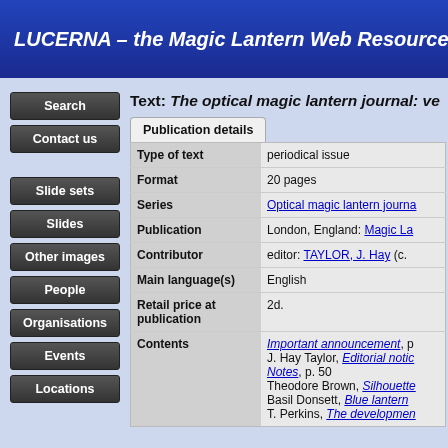LUCERNA – the Magic Lantern Web Resource
Text: The optical magic magic lantern journal: ve...
| Field | Value |
| --- | --- |
| Type of text | periodical issue |
| Format | 20 pages |
| Series | Optical magic lantern journa... |
| Publication | London, England: Magic La... |
| Contributor | editor: TAYLOR, J. Hay (c.... |
| Main language(s) | English |
| Retail price at publication | 2d. |
| Contents | Important announcement, p...; J. Hay Taylor, Editorial notic...; Notes, p. 50; Theodore Brown, Silhouette...; Basil Donsett, Blue lantern...; T. Perkins, The developmen... |